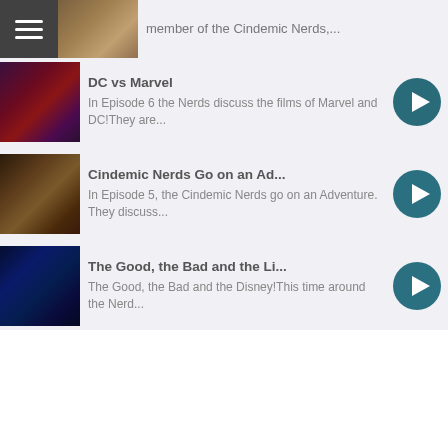member of the Cindemic Nerds,...
[Figure (screenshot): Hamburger menu icon button (dark background, three white horizontal lines)]
[Figure (photo): Partial cropped thumbnail image at top]
[Figure (photo): DC vs Marvel episode thumbnail - dark purple/red tones with DC characters]
DC vs Marvel
In Episode 6 the Nerds discuss the films of Marvel and DC!They are...
[Figure (other): Play button (teal circle with white triangle)]
[Figure (photo): Cindemic Nerds Go on an Ad... episode thumbnail - brown/warm tones]
Cindemic Nerds Go on an Ad...
In Episode 5, the Cindemic Nerds go on an Adventure. They discuss...
[Figure (other): Play button (teal circle with white triangle)]
[Figure (photo): The Good, the Bad and the Li... episode thumbnail - dark blue with Disney characters]
The Good, the Bad and the Li...
The Good, the Bad and the Disney!This time around the Nerd...
[Figure (other): Play button (teal circle with white triangle)]